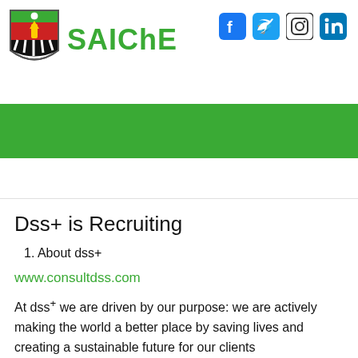[Figure (logo): SAIChE logo with crest and green text, plus social media icons (Facebook, Twitter, Instagram, LinkedIn)]
[Figure (other): Green navigation bar with hamburger menu icon on white background]
Dss+ is Recruiting
1. About dss+
www.consultdss.com
At dss+ we are driven by our purpose: we are actively making the world a better place by saving lives and creating a sustainable future for our clients